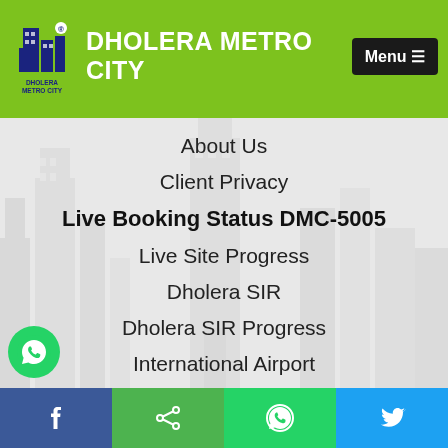DHOLERA METRO CITY
About Us
Client Privacy
Live Booking Status DMC-5005
Live Site Progress
Dholera SIR
Dholera SIR Progress
International Airport
News
Newsletters